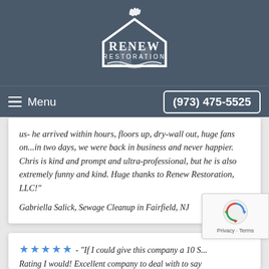[Figure (logo): Renew Restoration logo with house silhouette and flames, white on dark blue-grey background]
Menu   (973) 475-5525
us- he arrived within hours, floors up, dry-wall out, huge fans on...in two days, we were back in business and never happier. Chris is kind and prompt and ultra-professional, but he is also extremely funny and kind. Huge thanks to Renew Restoration, LLC!"
Gabriella Salick, Sewage Cleanup in Fairfield, NJ
★★★★★ - "If I could give this company a 10 S... Rating I would! Excellent company to deal with to say